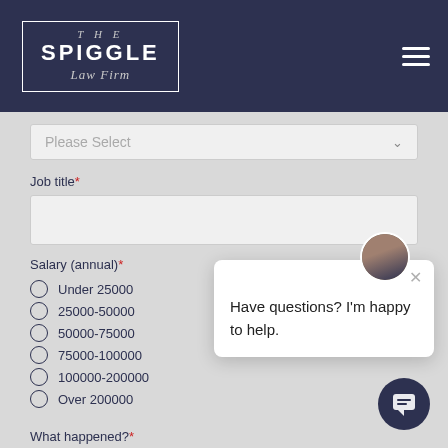[Figure (logo): The Spiggle Law Firm logo on dark navy background with hamburger menu icon]
Please Select
Job title*
Salary (annual)*
Under 25000
25000-50000
50000-75000
75000-100000
100000-200000
Over 200000
Have questions? I'm happy to help.
What happened?*